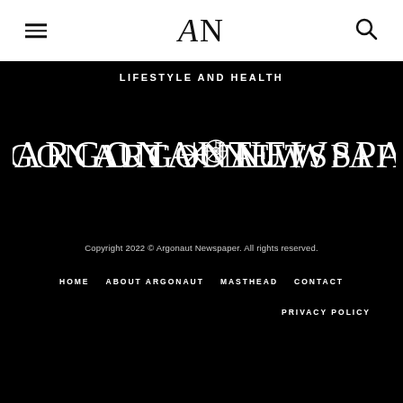AN (Argonaut Newspaper logo) — hamburger menu and search icon
LIFESTYLE AND HEALTH
[Figure (logo): Argonaut Newspaper wordmark in white serif/display font on black background with ship wheel emblem between the two words]
Copyright 2022 © Argonaut Newspaper. All rights reserved.
HOME   ABOUT ARGONAUT   MASTHEAD   CONTACT
PRIVACY POLICY